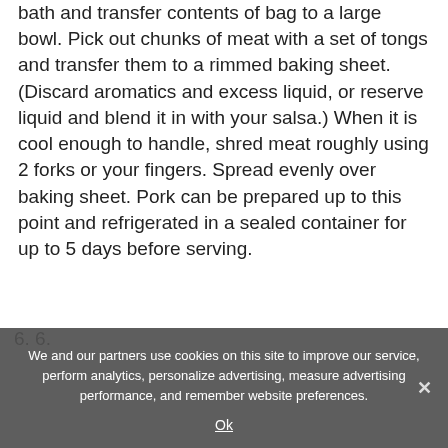bath and transfer contents of bag to a large bowl. Pick out chunks of meat with a set of tongs and transfer them to a rimmed baking sheet. (Discard aromatics and excess liquid, or reserve liquid and blend it in with your salsa.) When it is cool enough to handle, shred meat roughly using 2 forks or your fingers. Spread evenly over baking sheet. Pork can be prepared up to this point and refrigerated in a sealed container for up to 5 days before serving.
6. 6.
We and our partners use cookies on this site to improve our service, perform analytics, personalize advertising, measure advertising performance, and remember website preferences.
Ok